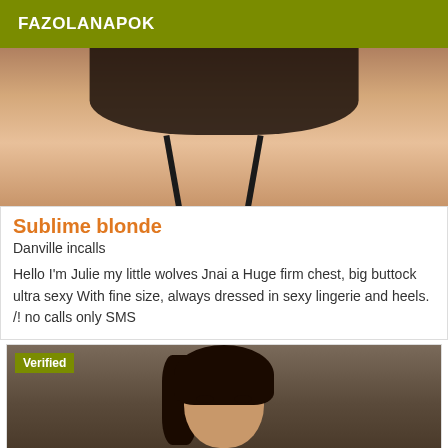FAZOLANAPOK
[Figure (photo): Photo showing a person in black lingerie from behind, displaying buttocks.]
Sublime blonde
Danville incalls
Hello I'm Julie my little wolves Jnai a Huge firm chest, big buttock ultra sexy With fine size, always dressed in sexy lingerie and heels. /! no calls only SMS
[Figure (photo): Photo of a dark-haired woman's face looking at the camera, with a Verified badge overlay.]